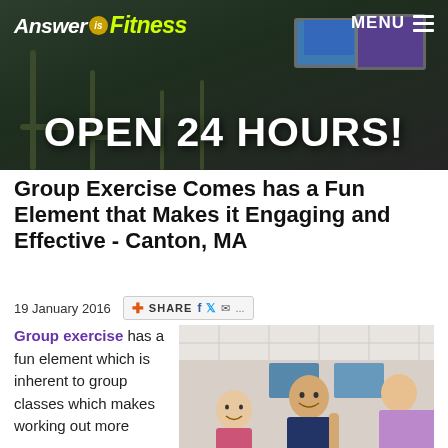Answer is Fitness — OPEN 24 HOURS!
Group Exercise Comes has a Fun Element that Makes it Engaging and Effective - Canton, MA
19 January 2016
[Figure (photo): Group exercise class photo showing smiling participants working out together in a gym]
Group exercise has a fun element which is inherent to group classes which makes working out more